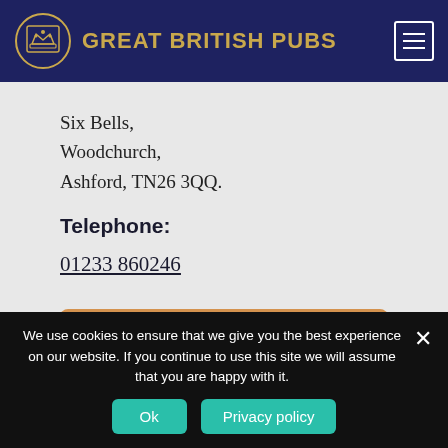GREAT BRITISH PUBS
Six Bells,
Woodchurch,
Ashford, TN26 3QQ.
Telephone:
01233 860246
We use cookies to ensure that we give you the best experience on our website. If you continue to use this site we will assume that you are happy with it.